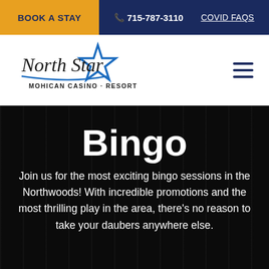BOOK A STAY | 715-787-3110 | COVID FAQS
[Figure (logo): North Star Mohican Casino Resort logo with star graphic and cursive text]
Bingo
Join us for the most exciting bingo sessions in the Northwoods! With incredible promotions and the most thrilling play in the area, there's no reason to take your daubers anywhere else.